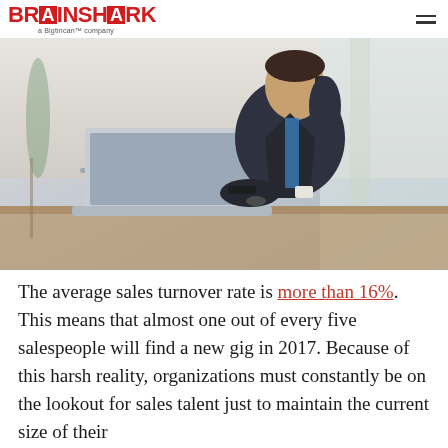BRAINSHARK a Bigtincan™ company
[Figure (photo): A businessman in a dark suit sitting at a desk with a laptop, talking on a phone and holding glasses, in a bright office setting.]
The average sales turnover rate is more than 16%. This means that almost one out of every five salespeople will find a new gig in 2017. Because of this harsh reality, organizations must constantly be on the lookout for sales talent just to maintain the current size of their